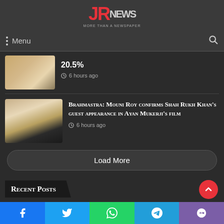[Figure (logo): JR News logo with red JR letters and grey NEWS text]
Menu
20.5%
6 hours ago
Brahmastra: Mouni Roy confirms Shah Rukh Khan's guest appearance in Ayan Mukerji's film
6 hours ago
Load More
Recent Posts